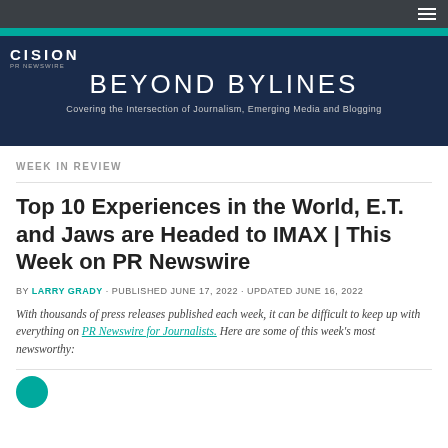CISION PR NEWSWIRE — BEYOND BYLINES — Covering the Intersection of Journalism, Emerging Media and Blogging
WEEK IN REVIEW
Top 10 Experiences in the World, E.T. and Jaws are Headed to IMAX | This Week on PR Newswire
BY LARRY GRADY · PUBLISHED JUNE 17, 2022 · UPDATED JUNE 16, 2022
With thousands of press releases published each week, it can be difficult to keep up with everything on PR Newswire for Journalists.  Here are some of this week's most newsworthy: